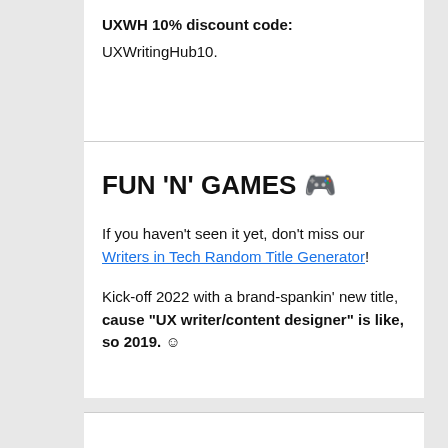UXWH 10% discount code: UXWritingHub10.
FUN 'N' GAMES 🎮
If you haven't seen it yet, don't miss our Writers in Tech Random Title Generator!
Kick-off 2022 with a brand-spankin' new title, cause "UX writer/content designer" is like, so 2019. ☺